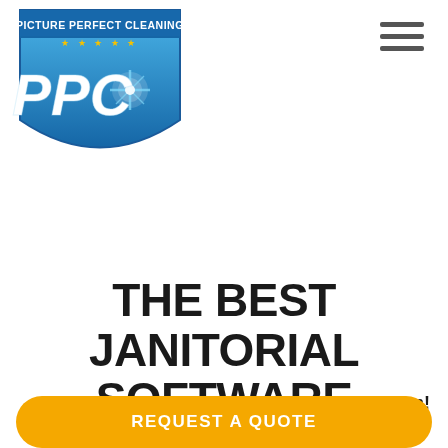[Figure (logo): Picture Perfect Cleaning PPC logo — blue shield/badge shape with 'PICTURE PERFECT CLEANING' text at top, large 'PPC' letters in white italic, and a starburst icon, with gold stars]
[Figure (other): Hamburger menu icon — three horizontal dark gray lines]
THE BEST JANITORIAL SOFTWARE
Perfection is Our Passion!
REQUEST A QUOTE